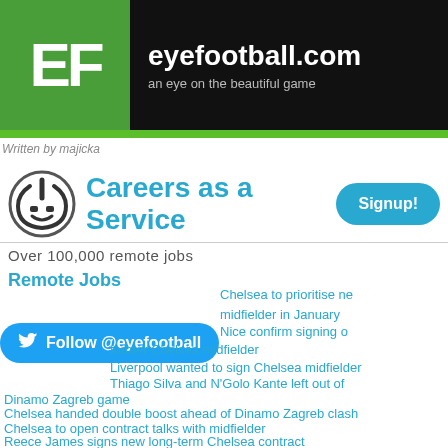eyefootball.com — an eye on the beautiful game
Written by majicka
[Figure (infographic): Careers as a Service advertisement with robot/power icon, Signup button, Over 100,000 remote jobs, Remote Jobs link]
Chelsea to prioritise new midfielder in January
Nice confirm signing of former Chelsea midfielder
Liverpool wanted to sign Chelsea midfielder
Thiago Silva and N'Golo Kante left out of Dinamo Zagreb game
Chelsea handed double boost ahead of Dinamo Zagreb clash
Chelsea to open contract talks with midfielder
Reece James signs new long-term Chelsea contract
Chelsea attacking target to sign new contract?
Arsenal pushed to sign Barcelona attacker?
Ajax boss confirms midfielder was denied Chelsea transfer